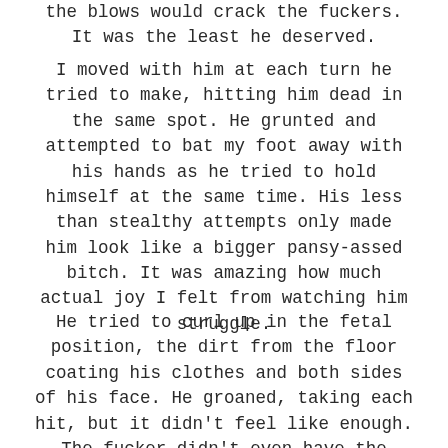the blows would crack the fuckers. It was the least he deserved.
I moved with him at each turn he tried to make, hitting him dead in the same spot. He grunted and attempted to bat my foot away with his hands as he tried to hold himself at the same time. His less than stealthy attempts only made him look like a bigger pansy-assed bitch. It was amazing how much actual joy I felt from watching him struggle.
He tried to curl up in the fetal position, the dirt from the floor coating his clothes and both sides of his face. He groaned, taking each hit, but it didn't feel like enough. The fucker didn't even have the